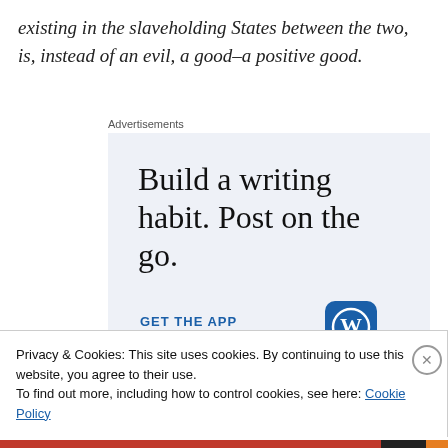existing in the slaveholding States between the two, is, instead of an evil, a good–a positive good.
[Figure (screenshot): Advertisement box with light blue-gray background showing text 'Build a writing habit. Post on the go.' with 'GET THE APP' link and WordPress logo icon]
Privacy & Cookies: This site uses cookies. By continuing to use this website, you agree to their use.
To find out more, including how to control cookies, see here: Cookie Policy